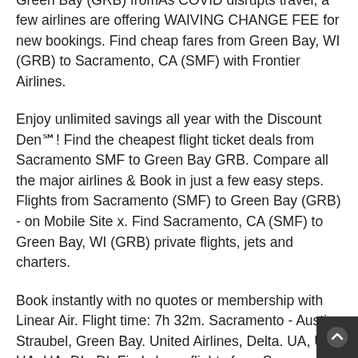kilometers. Delta Flights from Sacramento (SMF) to Green Bay (GRB) fromAs COVID disrupts travel, a few airlines are offering WAIVING CHANGE FEE for new bookings. Find cheap fares from Green Bay, WI (GRB) to Sacramento, CA (SMF) with Frontier Airlines.
Enjoy unlimited savings all year with the Discount Den℠! Find the cheapest flight ticket deals from Sacramento SMF to Green Bay GRB. Compare all the major airlines & Book in just a few easy steps. Flights from Sacramento (SMF) to Green Bay (GRB) - on Mobile Site x. Find Sacramento, CA (SMF) to Green Bay, WI (GRB) private flights, jets and charters.
Book instantly with no quotes or membership with Linear Air. Flight time: 7h 32m. Sacramento - Austin Straubel, Green Bay. United Airlines, Delta. UA, UA, UA, UA, DL, DL Find cheap flights from Sacramento to Green Bay on airlinegit.xyz and save up to 55%. Browse deals and discounts on airfares and flight schedules for Sacramento (SAC) to Green Bay (GRB) and win big giveaways with airlinegit.xyz!
The cheapest way to get from Green Bay Airport (GRB) to